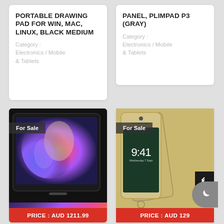PORTABLE DRAWING PAD FOR WIN, MAC, LINUX, BLACK MEDIUM
Category : Electronics / Mobile & Tablets
PANEL, PLIMPAD P3 (GRAY)
Category : Electronics / Mobile & Tablets
[Figure (photo): Tablet drawing pad with colorful digital artwork displayed, For Sale badge, price AUD 1211.99]
[Figure (photo): Two iPhones (gold), one showing lock screen 9:41 Wednesday 7 September, For Sale badge, price AUD 129]